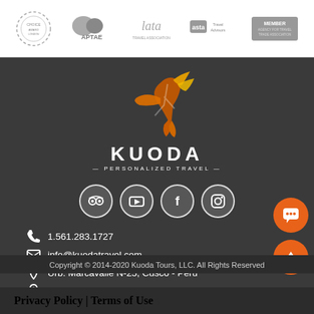[Figure (logo): Top bar with 5 association logos: Choice, APTAE, LATA, ASTA, Member badge]
[Figure (logo): Kuoda Personalized Travel logo with orange/gold phoenix bird above text]
[Figure (infographic): Four social media icons in circles: TripAdvisor, YouTube, Facebook, Instagram]
1.561.283.1727
info@kuodatravel.com
Urb. Marcavalle N-25, Cusco - Peru
113 Baldwin Blvd. Lake Worth, FL 33463
Copyright © 2014-2020 Kuoda Tours, LLC. All Rights Reserved
Privacy Policy | Terms of Use